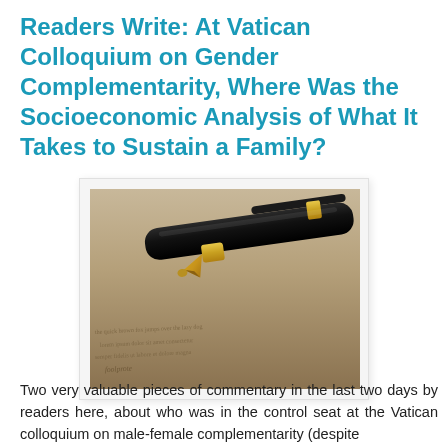Readers Write: At Vatican Colloquium on Gender Complementarity, Where Was the Socioeconomic Analysis of What It Takes to Sustain a Family?
[Figure (photo): Close-up photograph of a black fountain pen with gold nib resting on handwritten cursive text on aged paper]
Two very valuable pieces of commentary in the last two days by readers here, about who was in the control seat at the Vatican colloquium on male-female complementarity (despite